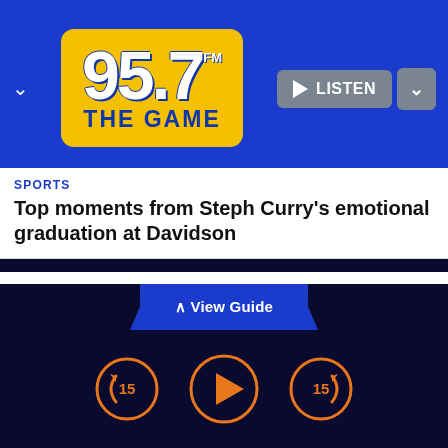[Figure (logo): 95.7 FM The Game radio station logo in yellow box with blue background, Listen button and dropdown on right]
SPORTS
Top moments from Steph Curry's emotional graduation at Davidson
Ahead of Tuesday night's contest, Pederson found himself engrossed in a clubhouse conversation with Bonds and LaMonte Wade Jr. – a meeting of the left-handed hitting minds. About 15 minutes out from first pitch, Pederson looked up at the clock and realized he had to get to the field. There
[Figure (screenshot): View Guide button bar and audio playback controls (rewind 15, play, forward 15) at the bottom of the app screen]